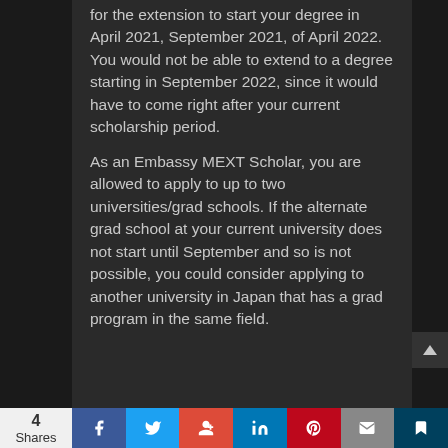for the extension to start your degree in April 2021, September 2021, of April 2022. You would not be able to extend to a degree starting in September 2022, since it would have to come right after your current scholarship period. As an Embassy MEXT Scholar, you are allowed to apply to up to two universities/grad schools. If the alternate grad school at your current university does not start until September and so is not possible, you could consider applying to another university in Japan that has a grad program in the same field.
4 Shares | Facebook | Twitter | Google+ | LinkedIn | Pinterest | Email | Bookmark